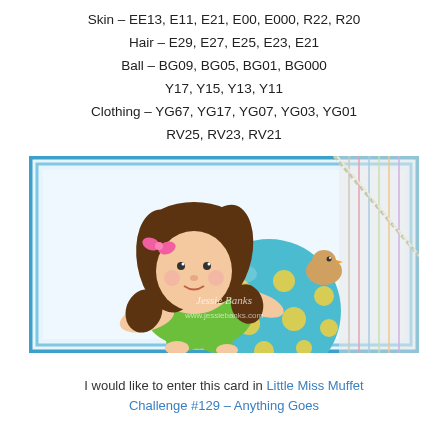Skin – EE13, E11, E21, E00, E000, R22, R20
Hair – E29, E27, E25, E23, E21
Ball – BG09, BG05, BG01, BG000
Y17, Y15, Y13, Y11
Clothing – YG67, YG17, YG07, YG03, YG01
RV25, RV23, RV21
[Figure (photo): A crafted greeting card showing a cute cartoon girl with long curly brown hair and a pink bow, wearing a green outfit, lying on a large teal polka-dot ball with yellow spots. A small bird sits nearby. The card has blue borders and decorative striped paper elements. Watermark reads: Jessie Banks / www.jessiebanks.com]
I would like to enter this card in Little Miss Muffet Challenge #129 – Anything Goes